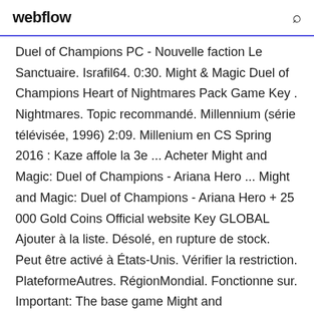webflow
Duel of Champions PC - Nouvelle faction Le Sanctuaire. Israfil64. 0:30. Might & Magic Duel of Champions Heart of Nightmares Pack Game Key . Nightmares. Topic recommandé. Millennium (série télévisée, 1996) 2:09. Millenium en CS Spring 2016 : Kaze affole la 3e ... Acheter Might and Magic: Duel of Champions - Ariana Hero ... Might and Magic: Duel of Champions - Ariana Hero + 25 000 Gold Coins Official website Key GLOBAL Ajouter à la liste. Désolé, en rupture de stock. Peut être activé à États-Unis. Vérifier la restriction. PlateformeAutres. RégionMondial. Fonctionne sur. Important: The base game Might and